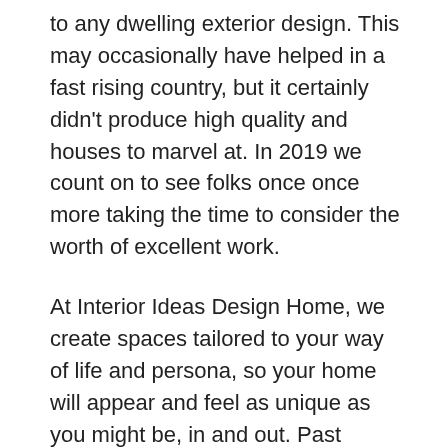to any dwelling exterior design. This may occasionally have helped in a fast rising country, but it certainly didn't produce high quality and houses to marvel at. In 2019 we count on to see folks once once more taking the time to consider the worth of excellent work.
At Interior Ideas Design Home, we create spaces tailored to your way of life and persona, so your home will appear and feel as unique as you might be, in and out. Past these, inside designers, significantly those with graduate training, can specialise in healthcare design, gerontological design, instructional facility design, and other areas that require specialized information.
Exterior designers are professionals who could